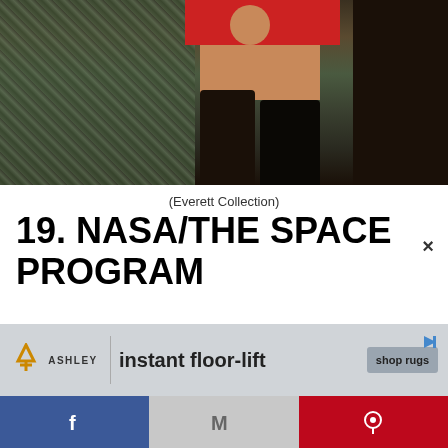[Figure (photo): Partial view of a person in a red skirt and black boots standing in front of a textured stone or wall background]
(Everett Collection)
19. NASA/THE SPACE PROGRAM
In the 1960s space was definitely the place,
[Figure (infographic): Ashley Furniture ad banner: orange triangle logo, 'instant floor-lift' text, 'shop rugs' button]
[Figure (infographic): Social share bar with Facebook (blue), Email M (grey), and Pinterest (red) buttons]